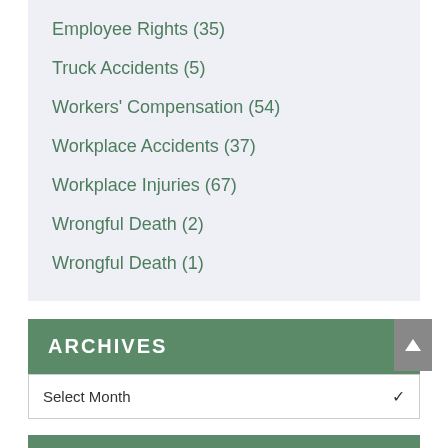Employee Rights (35)
Truck Accidents (5)
Workers' Compensation (54)
Workplace Accidents (37)
Workplace Injuries (67)
Wrongful Death (2)
Wrongful Death (1)
ARCHIVES
Select Month
RECENT POSTS